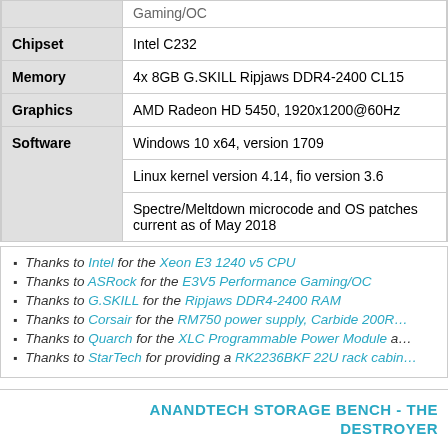|  |  |
| --- | --- |
|  | Gaming/OC |
| Chipset | Intel C232 |
| Memory | 4x 8GB G.SKILL Ripjaws DDR4-2400 CL15 |
| Graphics | AMD Radeon HD 5450, 1920x1200@60Hz |
| Software | Windows 10 x64, version 1709 |
|  | Linux kernel version 4.14, fio version 3.6 |
|  | Spectre/Meltdown microcode and OS patches current as of May 2018 |
Thanks to Intel for the Xeon E3 1240 v5 CPU
Thanks to ASRock for the E3V5 Performance Gaming/OC
Thanks to G.SKILL for the Ripjaws DDR4-2400 RAM
Thanks to Corsair for the RM750 power supply, Carbide 200R case, and H55 CPU cooler
Thanks to Quarch for the XLC Programmable Power Module and...
Thanks to StarTech for providing a RK2236BKF 22U rack cabin...
ANANDTECH STORAGE BENCH - THE DESTROYER